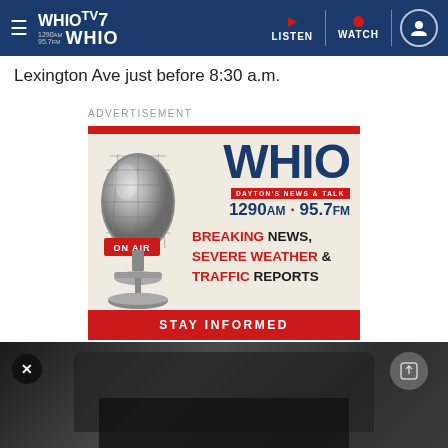WHIOTV7 1290AM 95.7FM WHIO | LISTEN | WATCH
Lexington Ave just before 8:30 a.m.
ADVERTISEMENT
[Figure (advertisement): WHIO Radio advertisement showing a vintage microphone with ON AIR badge, WHIO logo, Dayton's News & Talk, 1290AM · 95.7FM, Breaking News, Severe Weather & Traffic Reports, Stay Informed]
[Figure (photo): Dark photo showing what appears to be a camera or equipment, partially visible at the bottom of the page, with a close (X) button and share icon overlay]